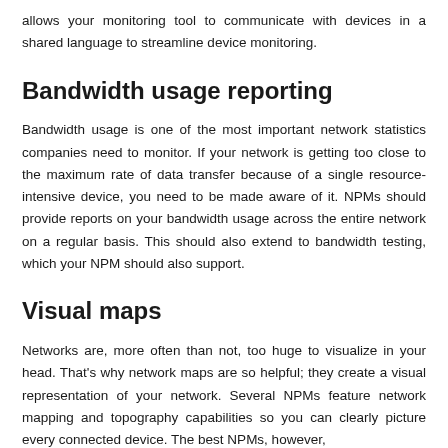allows your monitoring tool to communicate with devices in a shared language to streamline device monitoring.
Bandwidth usage reporting
Bandwidth usage is one of the most important network statistics companies need to monitor. If your network is getting too close to the maximum rate of data transfer because of a single resource-intensive device, you need to be made aware of it. NPMs should provide reports on your bandwidth usage across the entire network on a regular basis. This should also extend to bandwidth testing, which your NPM should also support.
Visual maps
Networks are, more often than not, too huge to visualize in your head. That's why network maps are so helpful; they create a visual representation of your network. Several NPMs feature network mapping and topography capabilities so you can clearly picture every connected device. The best NPMs, however,